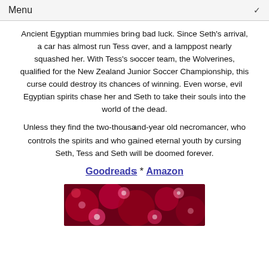Menu
Ancient Egyptian mummies bring bad luck. Since Seth’s arrival, a car has almost run Tess over, and a lamppost nearly squashed her. With Tess’s soccer team, the Wolverines, qualified for the New Zealand Junior Soccer Championship, this curse could destroy its chances of winning. Even worse, evil Egyptian spirits chase her and Seth to take their souls into the world of the dead.
Unless they find the two-thousand-year old necromancer, who controls the spirits and who gained eternal youth by cursing Seth, Tess and Seth will be doomed forever.
Goodreads * Amazon
[Figure (photo): Red and pink bokeh lights on a dark red background]